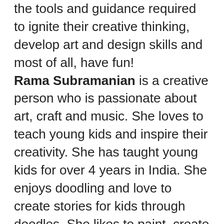the tools and guidance required to ignite their creative thinking, develop art and design skills and most of all, have fun! Rama Subramanian is a creative person who is passionate about art, craft and music. She loves to teach young kids and inspire their creativity. She has taught young kids for over 4 years in India. She enjoys doodling and love to create stories for kids through doodles. She likes to paint, create toys and greeting cards. She also teaches paper crafts and crayon art. Every child has their own learning curve and she likes to spend time individually if necessary to improve their skill set and kindle their creativity.